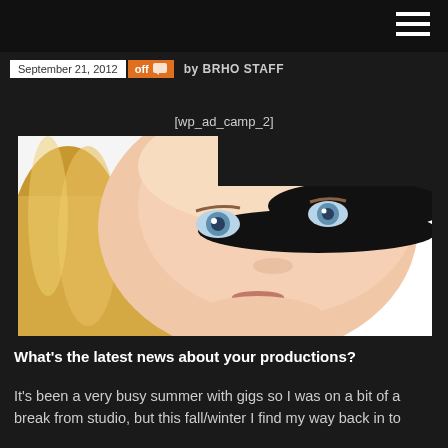September 21, 2012  off  by BRHO STAFF
[wp_ad_camp_2]
[Figure (photo): Close-up portrait of a young blonde woman with blue eyes, partially obscured by a black hat brim, white background]
What's the latest news about your productions?
It's been a very busy summer with gigs so I was on a bit of a break from studio, but this fall/winter I find my way back in to